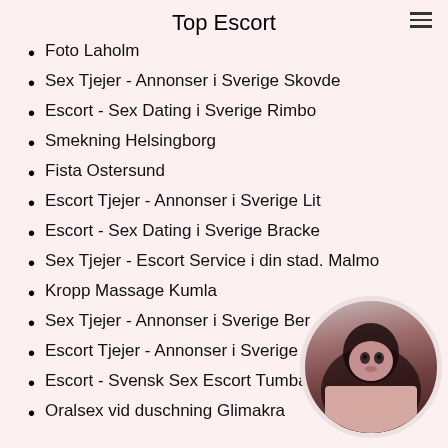Top Escort
Foto Laholm
Sex Tjejer - Annonser i Sverige Skovde
Escort - Sex Dating i Sverige Rimbo
Smekning Helsingborg
Fista Ostersund
Escort Tjejer - Annonser i Sverige Lit
Escort - Sex Dating i Sverige Bracke
Sex Tjejer - Escort Service i din stad. Malmo
Kropp Massage Kumla
Sex Tjejer - Annonser i Sverige Ber
Escort Tjejer - Annonser i Sverige
Escort - Svensk Sex Escort Tumba
Oralsex vid duschning Glimakra
[Figure (photo): Circular cropped portrait photo of a woman with dark hair, placed in the bottom-right corner of the page.]